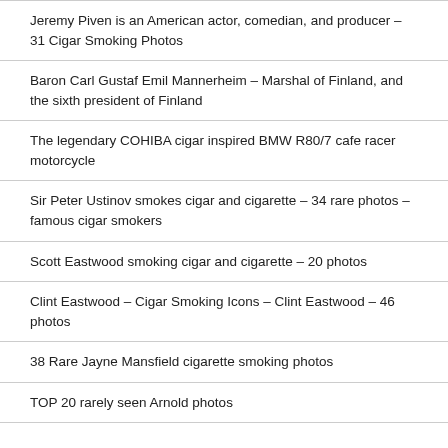Jeremy Piven is an American actor, comedian, and producer – 31 Cigar Smoking Photos
Baron Carl Gustaf Emil Mannerheim – Marshal of Finland, and the sixth president of Finland
The legendary COHIBA cigar inspired BMW R80/7 cafe racer motorcycle
Sir Peter Ustinov smokes cigar and cigarette – 34 rare photos – famous cigar smokers
Scott Eastwood smoking cigar and cigarette – 20 photos
Clint Eastwood – Cigar Smoking Icons – Clint Eastwood – 46 photos
38 Rare Jayne Mansfield cigarette smoking photos
TOP 20 rarely seen Arnold photos